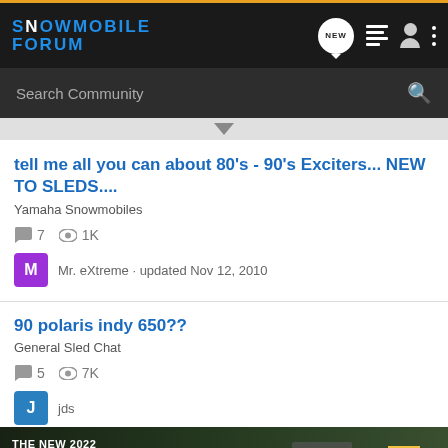Snowmobile Forum
Search Community
tell me all you can about 80's - 90's Exciters... NEW TO SLEDS....
Yamaha Snowmobiles
7 replies · 1K views
Mr. eXtreme · updated Nov 12, 2010
90 polaris indy 650??
General Sled Chat
5 replies · 7K views
jds · [truncated by ad]
[Figure (screenshot): Chevrolet 2022 Silverado advertisement banner showing truck and Chevrolet logo with Explore button]